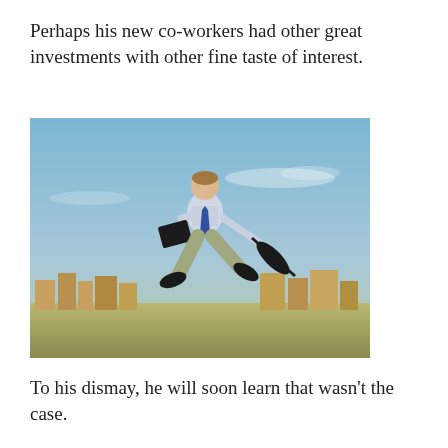Perhaps his new co-workers had other great investments with other fine taste of interest.
[Figure (photo): A businessman in a light blue shirt and tie leaps energetically into the air against a blue sky backdrop with a city skyline below, holding a black folder and umbrella.]
To his dismay, he will soon learn that wasn't the case.